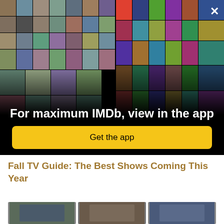[Figure (screenshot): IMDb app promotional banner with collage of celebrity photos and movie posters on a black background, with a close (X) button in the top right corner]
For maximum IMDb, view in the app
Get the app
Fall TV Guide: The Best Shows Coming This Year
[Figure (photo): Three thumbnail images for Fall TV Guide article]